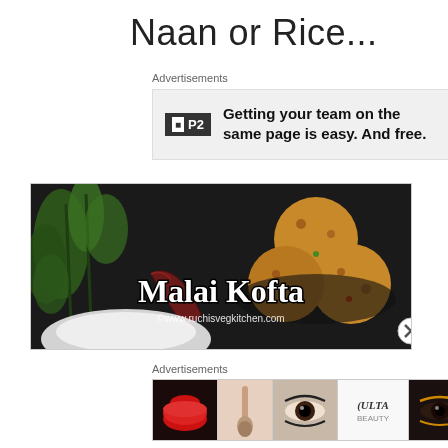Naan or Rice...
Advertisements
[Figure (screenshot): Advertisement banner for P2 team collaboration tool with logo and text: Getting your team on the same page is easy. And free.]
REPORT THIS AD
[Figure (photo): Malai Kofta food photograph showing fried kofta balls with cilantro and dried chili on dark background, with text 'Malai Kofta' and watermark ©www.ruchisvegkitchen.com]
Advertisements
[Figure (screenshot): Beauty/cosmetics advertisement banner showing makeup images, ULTA logo, and SHOP NOW text]